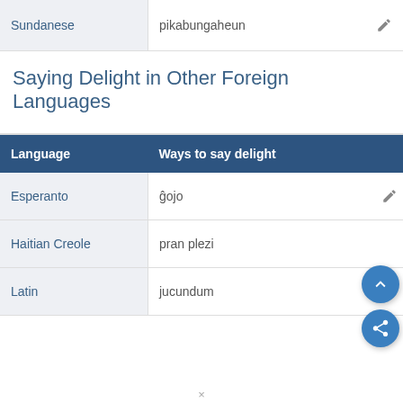| Language | Ways to say delight |
| --- | --- |
| Sundanese | pikabungaheun |
Saying Delight in Other Foreign Languages
| Language | Ways to say delight |
| --- | --- |
| Esperanto | ĝojo |
| Haitian Creole | pran plezi |
| Latin | jucundum |